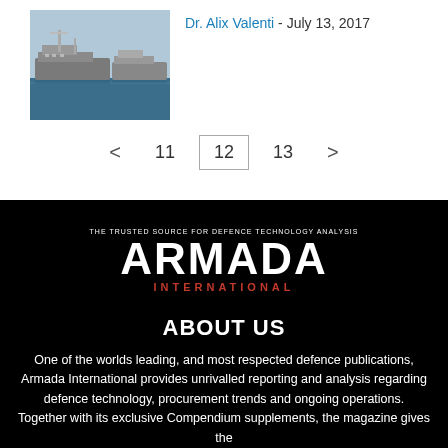[Figure (photo): Navy warships docked at port with blue water visible]
Dr. Alix Valenti - July 13, 2017
< 11 12 13 >
[Figure (logo): Armada International logo with tagline 'The Trusted Source for Defence Technology Analysis']
ABOUT US
One of the worlds leading, and most respected defence publications, Armada International provides unrivalled reporting and analysis regarding defence technology, procurement trends and ongoing operations. Together with its exclusive Compendium supplements, the magazine gives the